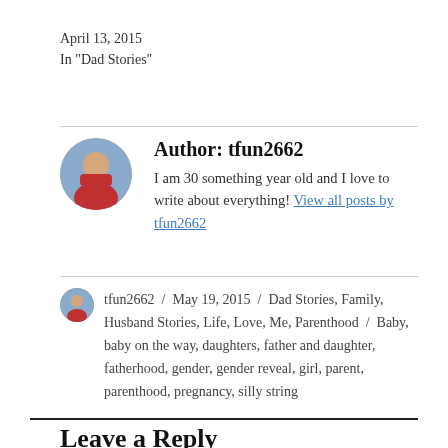April 13, 2015
In "Dad Stories"
Author: tfun2662
I am 30 something year old and I love to write about everything! View all posts by tfun2662
tfun2662 / May 19, 2015 / Dad Stories, Family, Husband Stories, Life, Love, Me, Parenthood / Baby, baby on the way, daughters, father and daughter, fatherhood, gender, gender reveal, girl, parent, parenthood, pregnancy, silly string
Leave a Reply